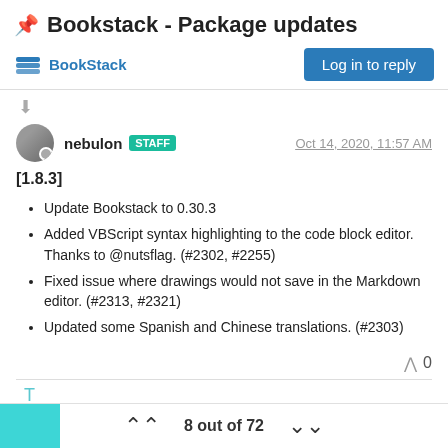📌 Bookstack - Package updates
BookStack
Log in to reply
nebulon STAFF — Oct 14, 2020, 11:57 AM
[1.8.3]
Update Bookstack to 0.30.3
Added VBScript syntax highlighting to the code block editor. Thanks to @nutsflag. (#2302, #2255)
Fixed issue where drawings would not save in the Markdown editor. (#2313, #2321)
Updated some Spanish and Chinese translations. (#2303)
0
19 days later
8 out of 72